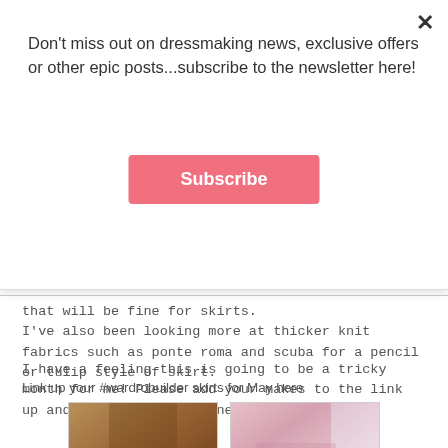Don't miss out on dressmaking news, exclusive offers or other epic posts...subscribe to the newsletter here!
Subscribe
that will be fine for skirts.
I've also been looking more at thicker knit fabrics such as ponte roma and scuba for a pencil or tulip style of skirt.
I have a feeling this is going to be a tricky month for me! Please add your makes to the link up and to Pinterest - I need your ideas!
Link up your #wardrobuilder skirts for May here
[Figure (photo): Photo of a brown/tan skirt worn by a person, showing a front slit detail]
[Figure (photo): Photo of a pink gathered/pleated skirt worn by a person near a window]